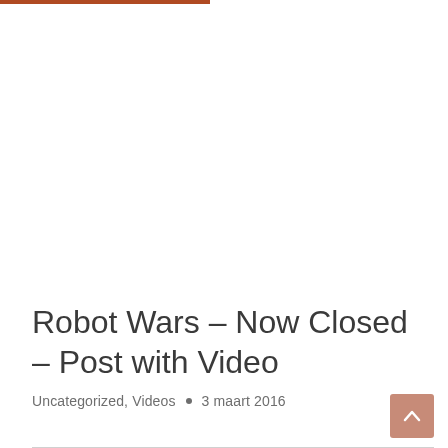Robot Wars – Now Closed – Post with Video
Uncategorized, Videos • 3 maart 2016